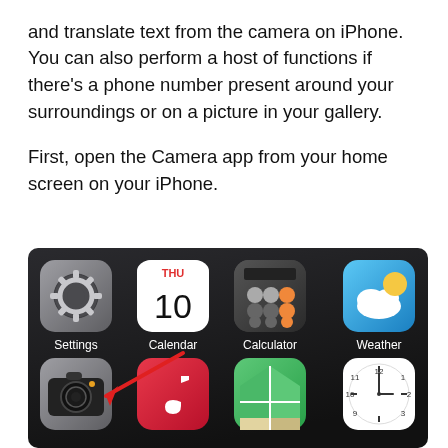and translate text from the camera on iPhone. You can also perform a host of functions if there's a phone number present around your surroundings or on a picture in your gallery.

First, open the Camera app from your home screen on your iPhone.
[Figure (screenshot): iPhone home screen showing app icons: Settings, Calendar (THU 10), Calculator, Weather in top row; Camera (with red arrow pointing to it), Music, Maps, Clock in bottom row partially visible.]